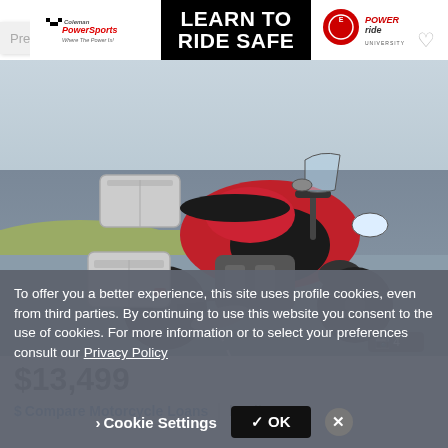[Figure (photo): Coleman PowerSports advertisement banner with 'Learn to Ride Safe' text and PowerRide University logo on black background]
[Figure (photo): Red Honda motorcycle (adventure touring style) with silver aluminum panniers/luggage cases, parked on a road with grassy area in background, photo count indicator showing 4 photos]
$13,499
$ Compare Motorcycle Loans | lendingtree
To offer you a better experience, this site uses profile cookies, even from third parties. By continuing to use this website you consent to the use of cookies. For more information or to select your preferences consult our Privacy Policy
> Cookie Settings   ✓ OK   ×